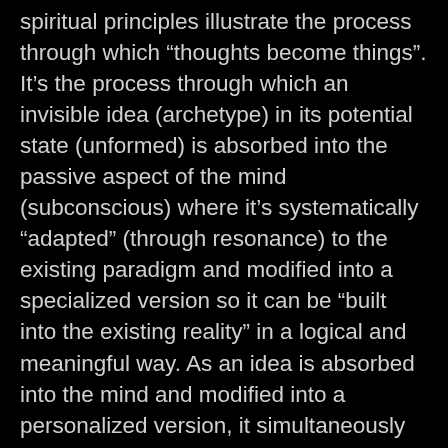spiritual principles illustrate the process through which “thoughts become things”. It’s the process through which an invisible idea (archetype) in its potential state (unformed) is absorbed into the passive aspect of the mind (subconscious) where it’s systematically “adapted” (through resonance) to the existing paradigm and modified into a specialized version so it can be “built into the existing reality” in a logical and meaningful way. As an idea is absorbed into the mind and modified into a personalized version, it simultaneously acts to evolve the model its being adapted to, changing its fundamental structure to form a slightly new variation of itself. As we change the structure of our mental paradigm through the incorporation of new ideas, it also changes how the outer world appears to us. As we incorporate new ideas they’re homogenized into our everyday reality, and become a natural part of